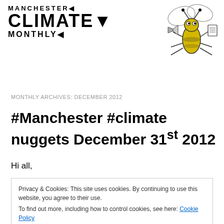[Figure (logo): Manchester Climate Monthly logo with stylized text and cartoon bug illustration]
MONTHLY ARCHIVES: DECEMBER 2012
#Manchester #climate nuggets December 31st 2012
Hi all,
Privacy & Cookies: This site uses cookies. By continuing to use this website, you agree to their use.
To find out more, including how to control cookies, see here: Cookie Policy